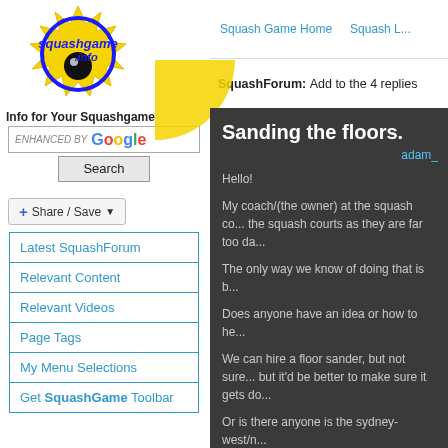[Figure (logo): Squashgame.info logo with yellow starburst and blue text]
Squash Game Home   Squash L...
SquashForum: Add to the 4 replies
Info for Your Squashgame
[Figure (other): Enhanced by Google search box with Search button]
[Figure (other): Share / Save button]
Latest SquashForum
Relevant Content
Relevant Videos
Page Tags
My Menu Selections
Get SquashGame Toolbar
Sanding the floors.
adam_
Hello!
My coach/(the owner) at the squash co... the squash courts as they are far too da...
The only way we know of doing that is b...
Does anyone have an idea or how to he...
We can hire a floor sander, but not sure... but it'd be better to make sure it gets do...
Or is there anyone is the sydney-west/n...
EDIT: All (5) the courts are sealed, the... wide. And they are over grippy whic...